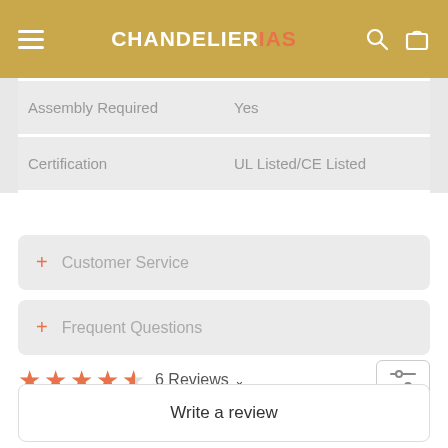CHANDELIER IAS
| Assembly Required | Yes |
| Certification | UL Listed/CE Listed |
+ Customer Service
+ Frequent Questions
4.5 stars · 6 Reviews
Write a review